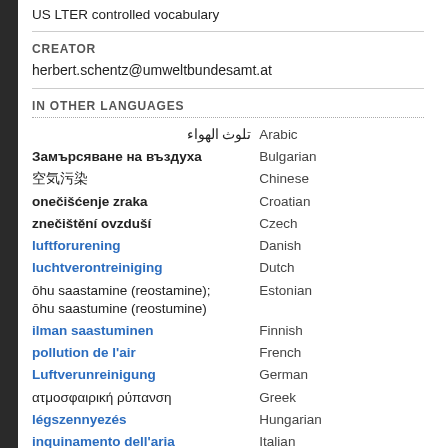US LTER controlled vocabulary
CREATOR
herbert.schentz@umweltbundesamt.at
IN OTHER LANGUAGES
| Term | Language |
| --- | --- |
| تلوث الهواء | Arabic |
| Замърсяване на въздуха | Bulgarian |
| [Chinese characters] | Chinese |
| onečišćenje zraka | Croatian |
| znečištění ovzduší | Czech |
| luftforurening | Danish |
| luchtverontreiniging | Dutch |
| ōhu saastamine (reostamine); ōhu saastumine (reostumine) | Estonian |
| ilman saastuminen | Finnish |
| pollution de l'air | French |
| Luftverunreinigung | German |
| ατμοσφαιρική ρύπανση | Greek |
| légszennyezés | Hungarian |
| inquinamento dell'aria | Italian |